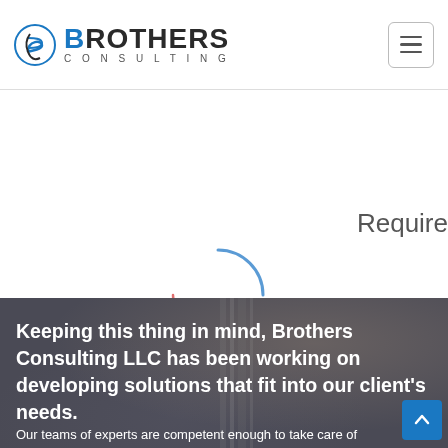[Figure (logo): Brothers Consulting LLC logo with stylized 'B' icon and 'BROTHERS CONSULTING' text]
[Figure (screenshot): Hamburger menu button (three horizontal lines) in top right of navigation bar]
Require
[Figure (other): Loading spinner with blue and red arc segments on white background]
[Figure (photo): Dark overlay photo of hands holding a phone or pen, background for text section]
Keeping this thing in mind, Brothers Consulting LLC has been working on developing solutions that fit into our client's needs.
Our teams of experts are competent enough to take care of